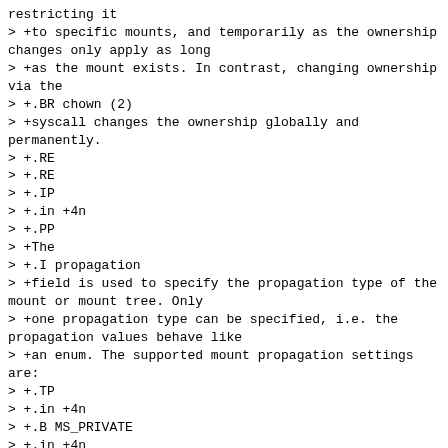restricting it
> +to specific mounts, and temporarily as the ownership changes only apply as long
> +as the mount exists. In contrast, changing ownership via the
> +.BR chown (2)
> +syscall changes the ownership globally and permanently.
> +.RE
> +.RE
> +.IP
> +.in +4n
> +.PP
> +The
> +.I propagation
> +field is used to specify the propagation type of the mount or mount tree. Only
> +one propagation type can be specified, i.e. the propagation values behave like
> +an enum. The supported mount propagation settings are:
> +.TP
> +.in +4n
> +.B MS_PRIVATE
> +.in +4n
> +Turn all mounts into private mounts. Mount and umount events do not propagate
> +into or out of this mount point.
> +.TP
> +.in +4n
> +.B MS_SHARED